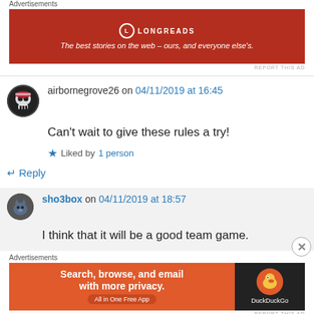[Figure (infographic): Longreads advertisement banner: red background, Longreads logo, tagline 'The best stories on the web – ours, and everyone else's.']
REPORT THIS AD
airbornegrove26 on 04/11/2019 at 16:45
Can't wait to give these rules a try!
Liked by 1 person
Reply
sho3box on 04/11/2019 at 18:57
I think that it will be a good team game.
[Figure (infographic): DuckDuckGo advertisement: 'Search, browse, and email with more privacy. All in One Free App' with DuckDuckGo logo on dark background.]
REPORT THIS AD